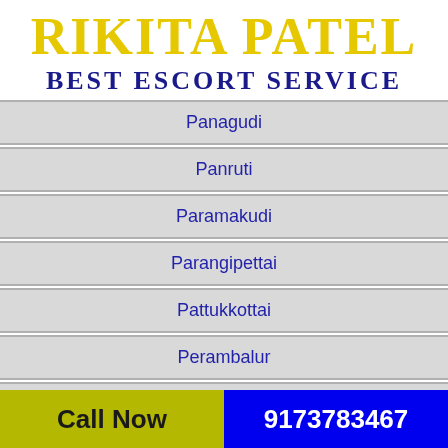RIKITA PATEL BEST ESCORT SERVICE
Panagudi
Panruti
Paramakudi
Parangipettai
Pattukkottai
Perambalur
P...
Call Now   9173783467